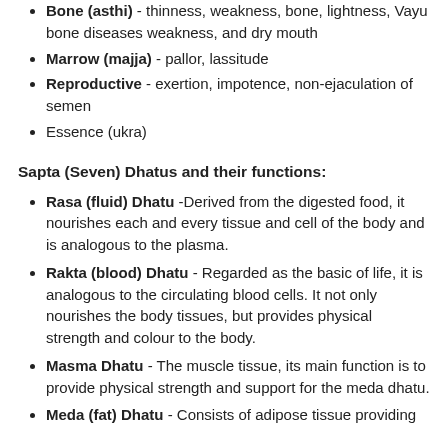Bone (asthi) - thinness, weakness, bone, lightness, Vayu bone diseases weakness, and dry mouth
Marrow (majja) - pallor, lassitude
Reproductive - exertion, impotence, non-ejaculation of semen
Essence (ukra)
Sapta (Seven) Dhatus and their functions:
Rasa (fluid) Dhatu -Derived from the digested food, it nourishes each and every tissue and cell of the body and is analogous to the plasma.
Rakta (blood) Dhatu - Regarded as the basic of life, it is analogous to the circulating blood cells. It not only nourishes the body tissues, but provides physical strength and colour to the body.
Masma Dhatu - The muscle tissue, its main function is to provide physical strength and support for the meda dhatu.
Meda (fat) Dhatu - Consists of adipose tissue providing